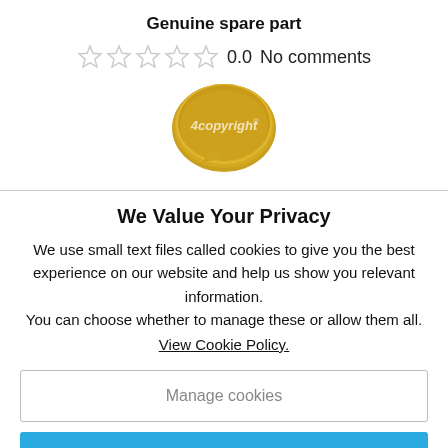Genuine spare part
[Figure (other): Five empty/outline star rating icons showing 0.0 rating with text '0.0  No comments']
[Figure (logo): 4copyright gold badge/seal logo]
We Value Your Privacy
We use small text files called cookies to give you the best experience on our website and help us show you relevant information.
You can choose whether to manage these or allow them all.
View Cookie Policy.
Manage cookies
Allow All